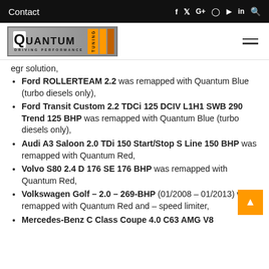Contact
[Figure (logo): Quantum Tuning logo with orange bars]
egr solution,
Ford ROLLERTEAM 2.2 was remapped with Quantum Blue (turbo diesels only),
Ford Transit Custom 2.2 TDCi 125 DCIV L1H1 SWB 290 Trend 125 BHP was remapped with Quantum Blue (turbo diesels only),
Audi A3 Saloon 2.0 TDi 150 Start/Stop S Line 150 BHP was remapped with Quantum Red,
Volvo S80 2.4 D 176 SE 176 BHP was remapped with Quantum Red,
Volkswagen Golf – 2.0 – 269-BHP (01/2008 – 01/2013) was remapped with Quantum Red and – speed limiter,
Mercedes-Benz C Class Coupe 4.0 C63 AMG V8